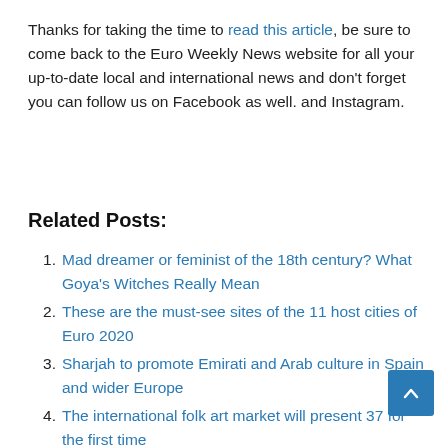Thanks for taking the time to read this article, be sure to come back to the Euro Weekly News website for all your up-to-date local and international news and don't forget you can follow us on Facebook as well. and Instagram.
Related Posts:
Mad dreamer or feminist of the 18th century? What Goya's Witches Really Mean
These are the must-see sites of the 11 host cities of Euro 2020
Sharjah to promote Emirati and Arab culture in Spain and wider Europe
The international folk art market will present 37 for the first time